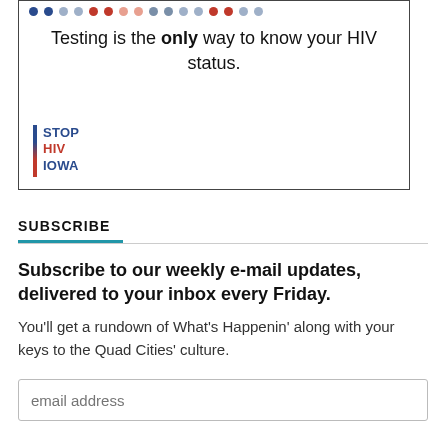[Figure (infographic): Stop HIV Iowa advertisement box with dot pattern at top, text 'Testing is the only way to know your HIV status.' and Stop HIV Iowa logo]
SUBSCRIBE
Subscribe to our weekly e-mail updates, delivered to your inbox every Friday.
You'll get a rundown of What's Happenin' along with your keys to the Quad Cities' culture.